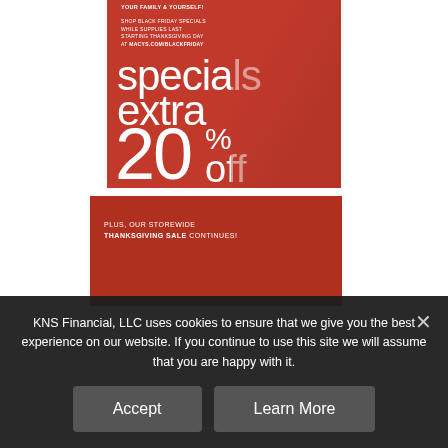[Figure (photo): Macy's Black Friday advertisement showing a woman in red with text: 'specials extra 20% off', shop Black Friday specials while supplies last starting Thanksgiving Day at macys.com/blackfriday]
[Figure (photo): Macy's advertisement with red background showing 'PLUS, OUR STOREWIDE THANKSGIVING SALE CONTINUES!' text, partially obscured]
KNS Financial, LLC uses cookies to ensure that we give you the best experience on our website. If you continue to use this site we will assume that you are happy with it.